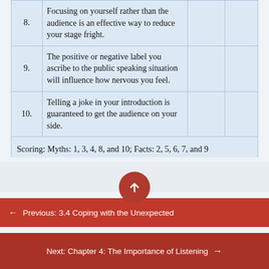| # | Statement |  |  |
| --- | --- | --- | --- |
| 8. | Focusing on yourself rather than the audience is an effective way to reduce your stage fright. |  |  |
| 9. | The positive or negative label you ascribe to the public speaking situation will influence how nervous you feel. |  |  |
| 10. | Telling a joke in your introduction is guaranteed to get the audience on your side. |  |  |
| Scoring: Myths: 1, 3, 4, 8, and 10; Facts: 2, 5, 6, 7, and 9 |  |  |  |
[Figure (other): Scroll-to-top button: dark red circle with white upward arrow]
← Previous: 3.4 Coping with the Unexpected
Next: Chapter 4: The Importance of Listening →